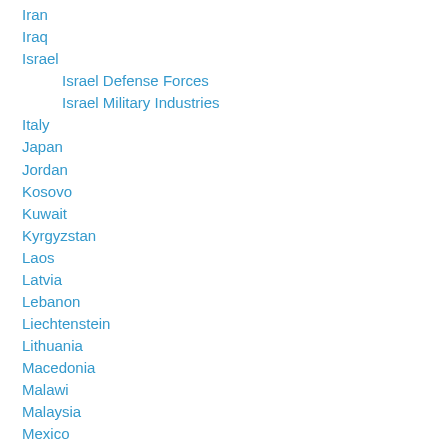Iran
Iraq
Israel
Israel Defense Forces
Israel Military Industries
Italy
Japan
Jordan
Kosovo
Kuwait
Kyrgyzstan
Laos
Latvia
Lebanon
Liechtenstein
Lithuania
Macedonia
Malawi
Malaysia
Mexico
Michigan
Moldova